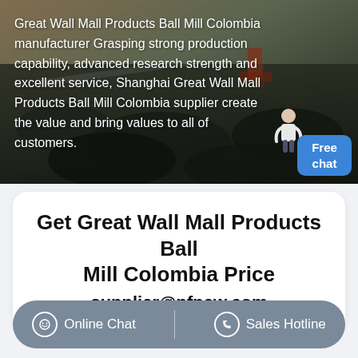[Figure (photo): Aerial view of a mining operation with dark rocky terrain, excavators and machinery visible. White text overlay describes Great Wall Mall Products Ball Mill Colombia manufacturer.]
Great Wall Mall Products Ball Mill Colombia manufacturer Grasping strong production capability, advanced research strength and excellent service, Shanghai Great Wall Mall Products Ball Mill Colombia supplier create the value and bring values to all of customers.
Get Great Wall Mall Products Ball Mill Colombia Price supplier@pfpew.com
Online Chat | Sales Hotline